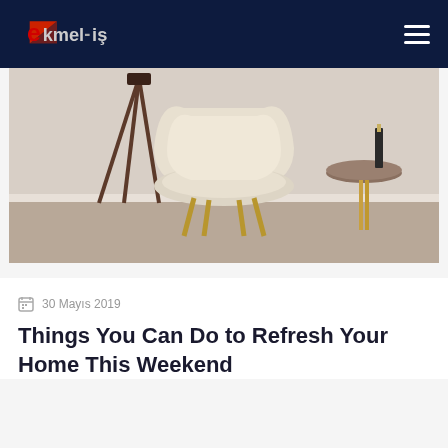ekmel-iş navigation bar with logo and hamburger menu
[Figure (photo): A modern beige armchair with curved backrest on golden metal legs, positioned next to a tripod floor lamp on the left and a small round marble side table with a candle on the right. Light neutral interior background.]
30 Mayıs 2019
Things You Can Do to Refresh Your Home This Weekend